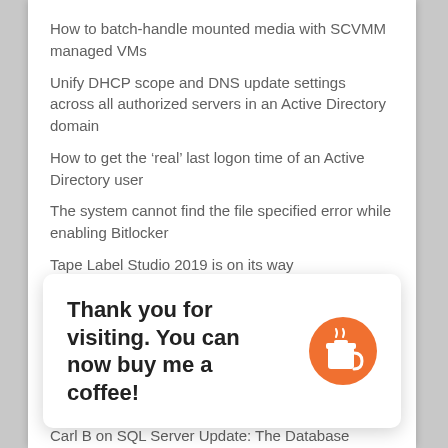How to batch-handle mounted media with SCVMM managed VMs
Unify DHCP scope and DNS update settings across all authorized servers in an Active Directory domain
How to get the ‘real’ last logon time of an Active Directory user
The system cannot find the file specified error while enabling Bitlocker
Tape Label Studio 2019 is on its way
Recent Comments
Bhupesh on Unknown error (0x80041024) in Data Protect… up of a unix ma…
SJ on C… arc… on a W…
Carl B on SQL Server Update: The Database Engine…
Thank you for visiting. You can now buy me a coffee!